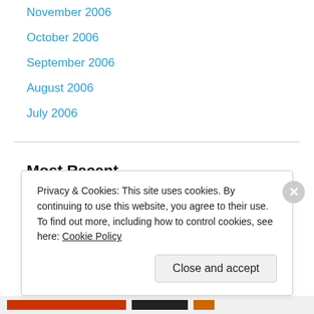November 2006
October 2006
September 2006
August 2006
July 2006
Most Recent
Motivation
The End Of An Era
Blogging About My Job For My Job
Marketing My Content Marketing with Content
Privacy & Cookies: This site uses cookies. By continuing to use this website, you agree to their use.
To find out more, including how to control cookies, see here: Cookie Policy
Close and accept